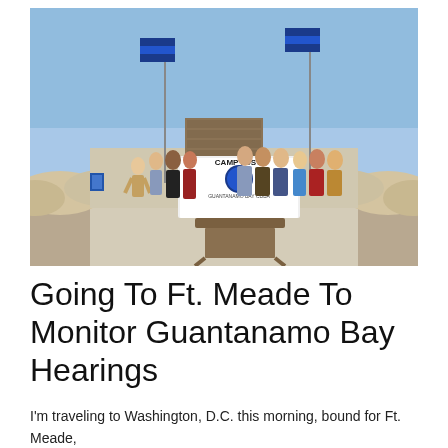[Figure (photo): Group of approximately 10 people standing in front of a 'Camp Justice, Guantanamo Bay Cuba' sign. Two flags on flagpoles visible in background. Military-style tent structures visible on either side. Outdoor setting on a concrete surface with gravel.]
Going To Ft. Meade To Monitor Guantanamo Bay Hearings
I'm traveling to Washington, D.C. this morning, bound for Ft. Meade, Maryland where on Monday morning I plan to monitor Guantanamo